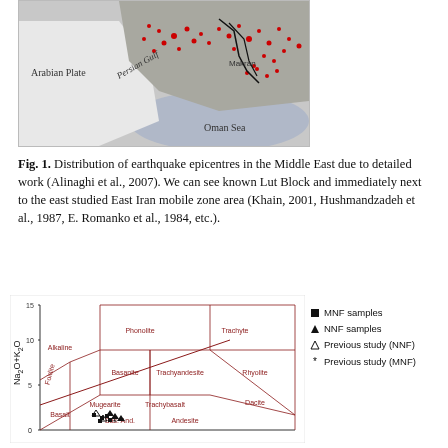[Figure (map): Map showing distribution of earthquake epicentres in the Middle East, with red dots marking seismic activity concentrated in Iran and surrounding regions. Labels include Arabian Plate, Persian Gulf, Makran, and Oman Sea.]
Fig. 1. Distribution of earthquake epicentres in the Middle East due to detailed work (Alinaghi et al., 2007). We can see known Lut Block and immediately next to the east studied East Iran mobile zone area (Khain, 2001, Hushmandzadeh et al., 1987, E. Romanko et al., 1984, etc.).
[Figure (other): TAS (Total Alkali-Silica) diagram showing geochemical classification of volcanic rock samples. Y-axis is Na2O+K2O (range 0-15), with fields labeled Alkaline, Foidite, Picrobasalt, Phonolite, Tephrite, Basanite, Phonotephrite, Trachyte, Basaltic Trachyandesite, Trachyandesite, Trachydacite, Rhyolite, Dacite, Andesite, Basalt, Basaltic Andesite, Andesite. Data points clustered in basalt/basaltic andesite region.]
MNF samples
NNF samples
Previous study (NNF)
Previous study (MNF)